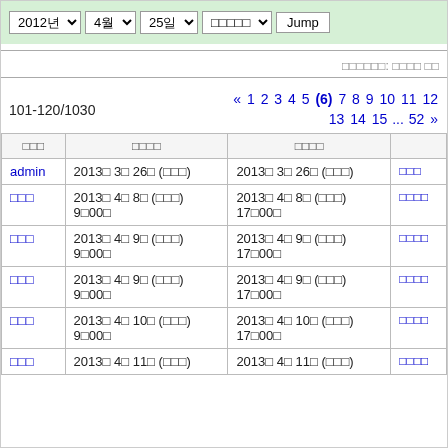2012년 4월 25일 □□□□□ Jump
□□□□□□: □□□□ □□
101-120/1030
« 1 2 3 4 5 (6) 7 8 9 10 11 12 13 14 15 ... 52 »
| □□□ | □□□□ | □□□□ |
| --- | --- | --- |
| admin | 2013□ 3□ 26□ (□□□) | 2013□ 3□ 26□ (□□□) | □□□ |
| □□□ | 2013□ 4□ 8□ (□□□)
9□00□ | 2013□ 4□ 8□ (□□□)
17□00□ | □□□□ |
| □□□ | 2013□ 4□ 9□ (□□□)
9□00□ | 2013□ 4□ 9□ (□□□)
17□00□ | □□□□ |
| □□□ | 2013□ 4□ 9□ (□□□)
9□00□ | 2013□ 4□ 9□ (□□□)
17□00□ | □□□□ |
| □□□ | 2013□ 4□ 10□ (□□□)
9□00□ | 2013□ 4□ 10□ (□□□)
17□00□ | □□□□ |
| □□□ | 2013□ 4□ 11□ (□□□) | 2013□ 4□ 11□ (□□□) | □□□□ |